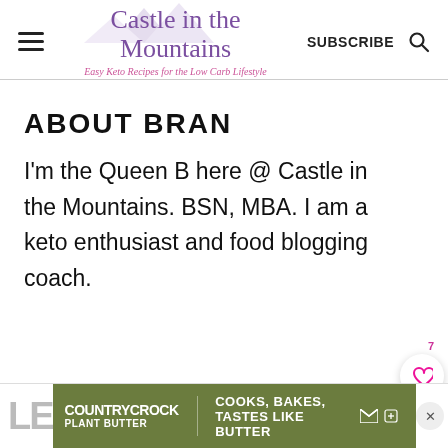Castle in the Mountains — Easy Keto Recipes for the Low Carb Lifestyle | SUBSCRIBE
ABOUT BRAN
I'm the Queen B here @ Castle in the Mountains. BSN, MBA. I am a keto enthusiast and food blogging coach.
[Figure (other): Advertisement banner: Country Crock Plant Butter — Cooks, Bakes, Tastes Like Butter]